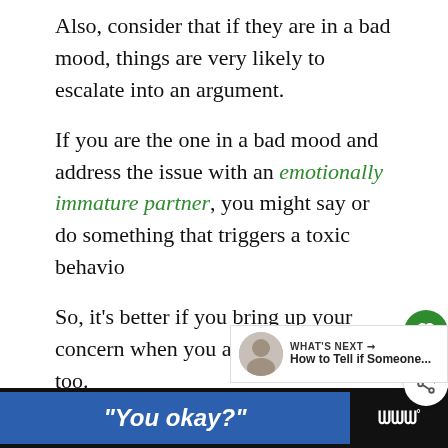Also, consider that if they are in a bad mood, things are very likely to escalate into an argument.
If you are the one in a bad mood and address the issue with an emotionally immature partner, you might say or do something that triggers a toxic behavior
So, it's better if you bring up your concern when you are in a good too.
[Figure (infographic): What's Next panel with thumbnail image and text 'How to Tell if Someone...']
[Figure (infographic): Bottom advertisement banner with blue background showing text "You okay?" and a logo area with Www° symbol]